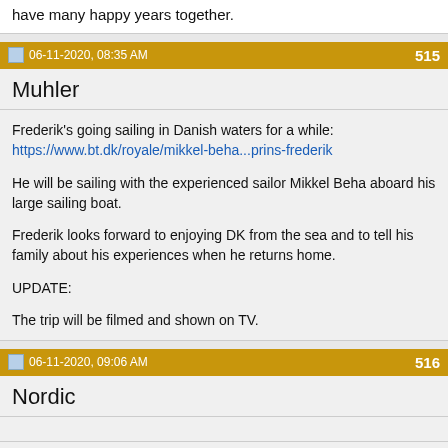have many happy years together.
06-11-2020, 08:35 AM  515
Muhler
Frederik's going sailing in Danish waters for a while:
https://www.bt.dk/royale/mikkel-beha...prins-frederik

He will be sailing with the experienced sailor Mikkel Beha aboard his large sailing boat.

Frederik looks forward to enjoying DK from the sea and to tell his family about his experiences when he returns home.

UPDATE:

The trip will be filmed and shown on TV.
06-11-2020, 09:06 AM  516
Nordic
Quote:
Originally Posted by Muhler